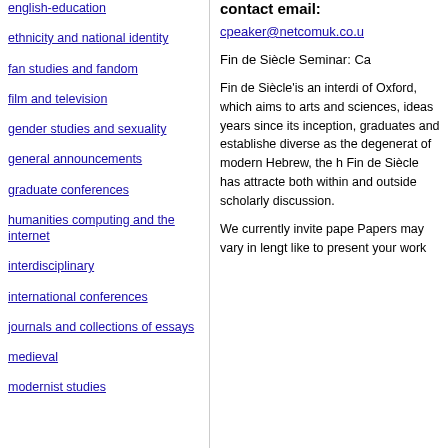english-education
ethnicity and national identity
fan studies and fandom
film and television
gender studies and sexuality
general announcements
graduate conferences
humanities computing and the internet
interdisciplinary
international conferences
journals and collections of essays
medieval
modernist studies
contact email:
cpeaker@netcomuk.co.u
Fin de Siècle Seminar: Ca
Fin de Siècle'is an interdi of Oxford, which aims to arts and sciences, ideas years since its inception, graduates and establishe diverse as the degenerat of modern Hebrew, the h Fin de Siècle has attracte both within and outside scholarly discussion.
We currently invite pape Papers may vary in lengt like to present your work